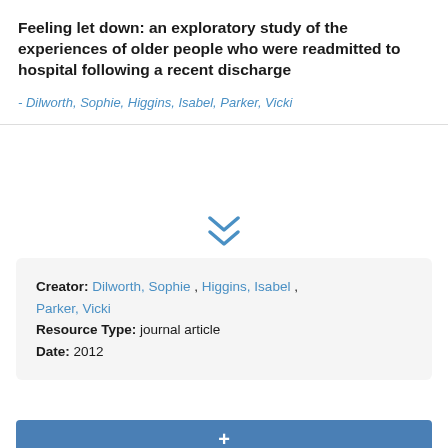Feeling let down: an exploratory study of the experiences of older people who were readmitted to hospital following a recent discharge
- Dilworth, Sophie, Higgins, Isabel, Parker, Vicki
[Figure (other): Double chevron down arrow icon in blue]
Creator: Dilworth, Sophie , Higgins, Isabel , Parker, Vicki
Resource Type: journal article
Date: 2012
+